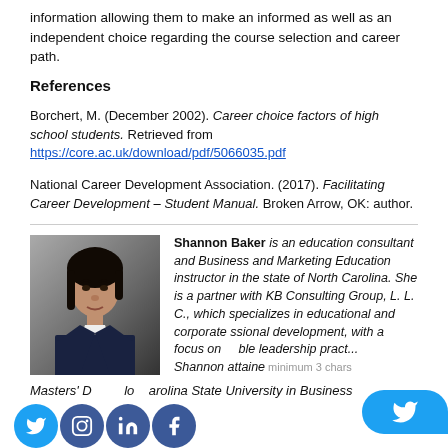information allowing them to make an informed as well as an independent choice regarding the course selection and career path.
References
Borchert, M. (December 2002). Career choice factors of high school students. Retrieved from https://core.ac.uk/download/pdf/5066035.pdf
National Career Development Association. (2017). Facilitating Career Development – Student Manual. Broken Arrow, OK: author.
[Figure (photo): Portrait photo of Shannon Baker, a woman in professional attire]
Shannon Baker is an education consultant and Business and Marketing Education instructor in the state of North Carolina. She is a partner with KB Consulting Group, L. L. C., which specializes in educational and corporate professional development, with a focus on equitable leadership pract... Shannon attained... Masters' D... Carolina State University in Business